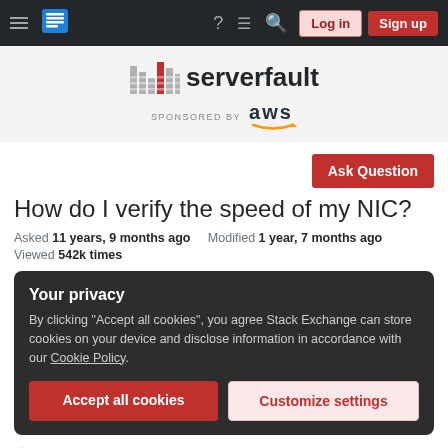Server Fault navigation bar with Log in and Sign up buttons
[Figure (logo): Server Fault logo with bar-chart icon and 'serverfault' wordmark, sponsored by AWS]
Ask Question
How do I verify the speed of my NIC?
Asked 11 years, 9 months ago   Modified 1 year, 7 months ago
Viewed 542k times
Your privacy
By clicking "Accept all cookies", you agree Stack Exchange can store cookies on your device and disclose information in accordance with our Cookie Policy.
Accept all cookies   Customize settings